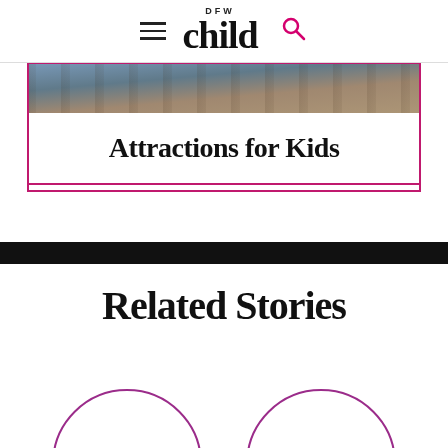DFW child
[Figure (photo): Photo strip of an outdoor/indoor scene with wooden structures]
Attractions for Kids
[Figure (other): Black horizontal bar separator]
Related Stories
[Figure (illustration): Two circular placeholder image outlines for related story thumbnails]